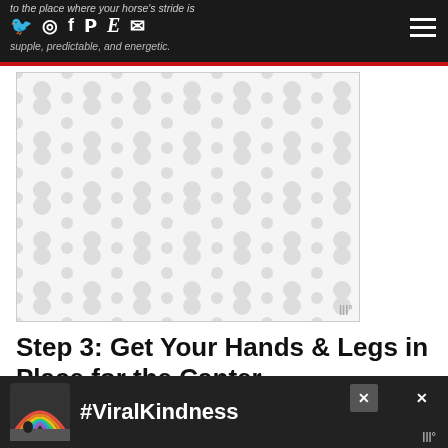to the place where your horse's stride is supple, predictable, and energetic.
[Figure (illustration): Advertisement placeholder with repeating grey organic blob/dumbbell pattern on white background, with a small logo in the bottom right corner.]
Step 3: Get Your Hands & Legs in Place for the Canter
[Figure (illustration): Bottom advertisement banner with rainbow illustration and #ViralKindness text on dark background, with close buttons.]